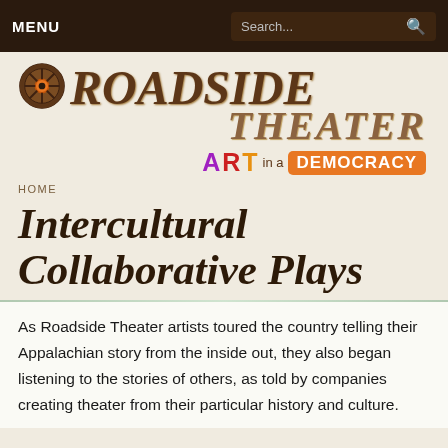MENU | Search...
[Figure (logo): Roadside Theater logo with wagon wheel graphic and 'ART in a DEMOCRACY' tagline]
HOME
Intercultural Collaborative Plays
As Roadside Theater artists toured the country telling their Appalachian story from the inside out, they also began listening to the stories of others, as told by companies creating theater from their particular history and culture.